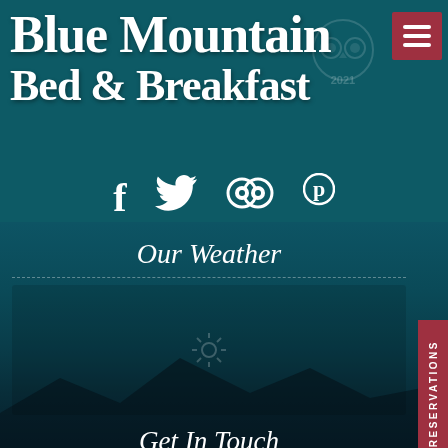Blue Mountain Bed & Breakfast
[Figure (logo): TripAdvisor owl logo with laurel wreath and 2021 year badge]
[Figure (illustration): Hamburger menu button (red square with three horizontal white lines)]
[Figure (illustration): Social media icons: Facebook (f), Twitter (bird), TripAdvisor (owl), Pinterest (P)]
Our Weather
[Figure (illustration): Weather widget placeholder area with faint sun/gear icon]
[Figure (illustration): RESERVATIONS vertical tab button on right side]
Get In Touch
☎ 406-203-3187 - Phone